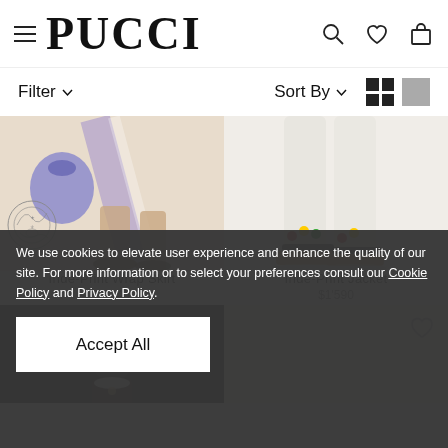PUCCI
Filter   Sort By
[Figure (photo): Fashion product photo: lower half of model wearing Iride-Print Wrap Skirt with sandals and a bag]
Iride-Print Wrap Skirt
$1'145
[Figure (photo): Fashion product photo: lower half of model wearing white pants with colorful ankle sandals (Iride-Print Jacket)]
Iride-Print Jacket
$1'590
We use cookies to elevate user experience and enhance the quality of our site. For more information or to select your preferences consult our Cookie Policy and Privacy Policy.
Accept All